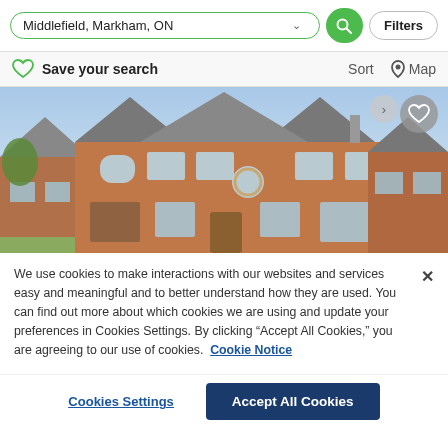Middlefield, Markham, ON — search bar with Filters button
Save your search  Sort  Map
[Figure (photo): Exterior photo of a large two-storey brick house with grey roof, arch windows, and blue sky background. A favourite heart button overlays the top right corner.]
We use cookies to make interactions with our websites and services easy and meaningful and to better understand how they are used. You can find out more about which cookies we are using and update your preferences in Cookies Settings. By clicking "Accept All Cookies," you are agreeing to our use of cookies. Cookie Notice
Cookies Settings   Accept All Cookies